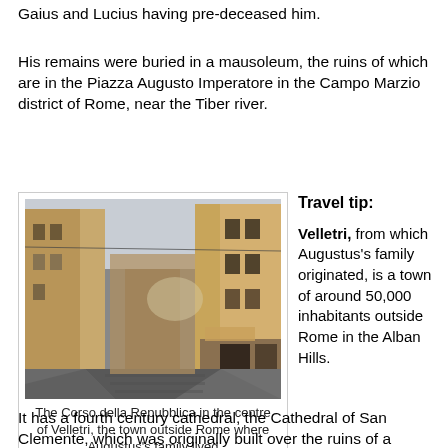Gaius and Lucius having pre-deceased him.
His remains were buried in a mausoleum, the ruins of which are in the Piazza Augusto Imperatore in the Campo Marzio district of Rome, near the Tiber river.
[Figure (photo): Street view of the Corso della Repubblica in the centre of Velletri, showing a narrow cobblestone lane flanked by tall Italian buildings.]
The Corso della Repubblica in the centre of Velletri, the town outside Rome where Augustus's family lived
Travel tip:

Velletri, from which Augustus's family originated, is a town of around 50,000 inhabitants outside Rome in the Alban Hills.
It has a fourth century cathedral, the Cathedral of San Clemente, which was originally built over the ruins of a